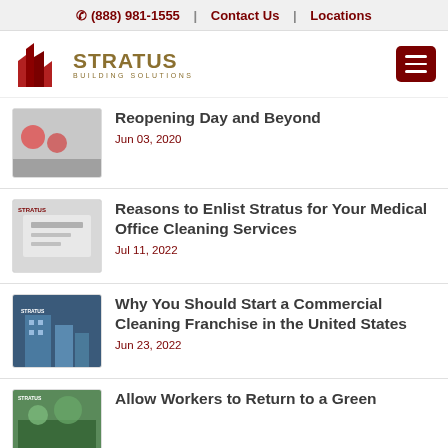☎ (888) 981-1555  |  Contact Us  |  Locations
[Figure (logo): Stratus Building Solutions logo with red building icon and gold text]
Reopening Day and Beyond — Jun 03, 2020
Reasons to Enlist Stratus for Your Medical Office Cleaning Services — Jul 11, 2022
Why You Should Start a Commercial Cleaning Franchise in the United States — Jun 23, 2022
Allow Workers to Return to a Green